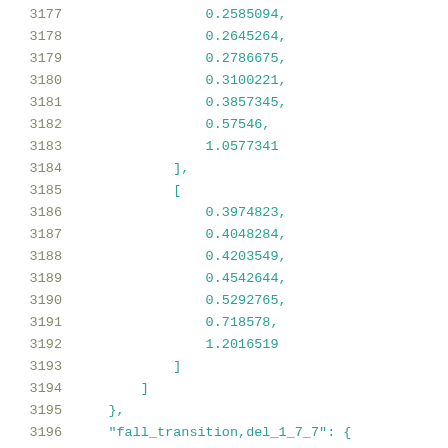3177    0.2585094,
3178    0.2645264,
3179    0.2786675,
3180    0.3100221,
3181    0.3857345,
3182    0.57546,
3183    1.0577341
3184  ],
3185  [
3186    0.3974823,
3187    0.4048284,
3188    0.4203549,
3189    0.4542644,
3190    0.5292765,
3191    0.718578,
3192    1.2016519
3193  ]
3194  ]
3195  },
3196  "fall_transition,del_1_7_7": {
3197  "index_1": [
3198  0.01